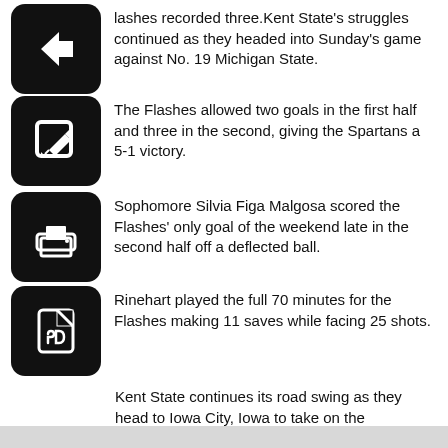lashes recorded three.Kent State's struggles continued as they headed into Sunday's game against No. 19 Michigan State.
The Flashes allowed two goals in the first half and three in the second, giving the Spartans a 5-1 victory.
Sophomore Silvia Figa Malgosa scored the Flashes' only goal of the weekend late in the second half off a deflected ball.
Rinehart played the full 70 minutes for the Flashes making 11 saves while facing 25 shots.
Kent State continues its road swing as they head to Iowa City, Iowa to take on the University of Iowa Saturday Sept. 12 and Stanford University Sun- day at Sept. 13. Both games begin at 12:30 p.m.
Zac Sommer is a sports reporter for The Kent Stater. Contact him at zsommer@kent.edu